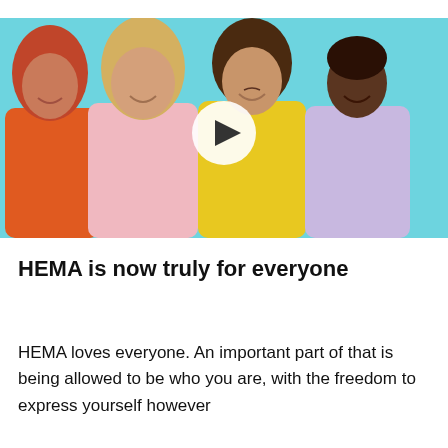[Figure (photo): Four smiling people — a woman with red hair in an orange top, a blonde woman in a pink top, a man with curly hair in a yellow jacket, and a man in a lavender top — posed against a light blue background. A white play button icon is overlaid in the center.]
HEMA is now truly for everyone
HEMA loves everyone. An important part of that is being allowed to be who you are, with the freedom to express yourself however